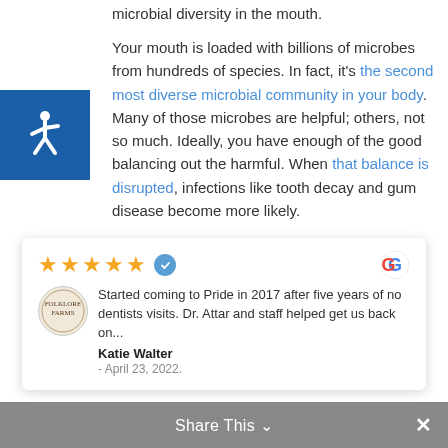microbial diversity in the mouth.
Your mouth is loaded with billions of microbes from hundreds of species. In fact, it's the second most diverse microbial community in your body. Many of those microbes are helpful; others, not so much. Ideally, you have enough of the good balancing out the harmful. When that balance is disrupted, infections like tooth decay and gum disease become more likely.
For the study, mouthwash samples were taken from nearly 1000 participants. The authors then evaluated the oral flora relative to each participant's tea and coffee consumption. They didn't find that coffee had much of an
[Figure (other): Blue accessibility icon square with wheelchair symbol in white]
Started coming to Pride in 2017 after five years of no dentists visits. Dr. Attar and staff helped get us back on... Katie Walter - April 23, 2022.